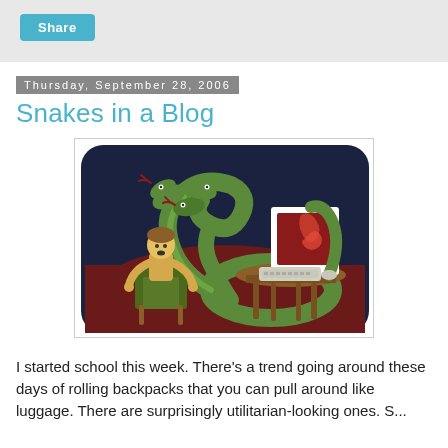Share
Thursday, September 28, 2006
Snakes in a Blog
[Figure (illustration): Illustrated artwork showing a cartoon person sitting in a chair, frightened by multiple green snake heads emerging from behind them, with the snake's body coiling around a computer desk with a keyboard and monitor displaying a red octopus/flame design, all set against a dark navy and dark red background with rounded rectangle border.]
I started school this week. There’s a trend going around these days of rolling backpacks that you can pull around like luggage. There are surprisingly utilitarian-looking ones. S...